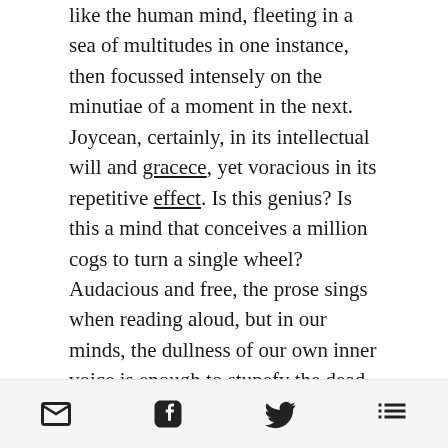like the human mind, fleeting in a sea of multitudes in one instance, then focussed intensely on the minutiae of a moment in the next. Joycean, certainly, in its intellectual will and grace, yet voracious in its repetitive effect. Is this genius? Is this a mind that conceives a million cogs to turn a single wheel? Audacious and free, the prose sings when reading aloud, but in our minds, the dullness of our own inner voice is enough to stupefy the dead, but hear, it sings, the audacious spirit climbing a mountain of words to spin a single letter, to spur on a simple thought by the teeth of an army of words. Is this easy? Certainly not. Beckett's novel is
[email icon] [facebook icon] [twitter icon] [grid icon]